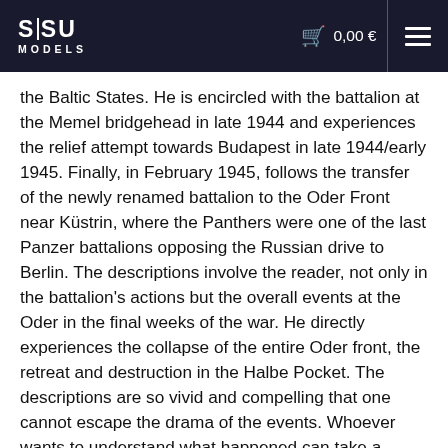SISU MODELS  0,00 €
the Baltic States. He is encircled with the battalion at the Memel bridgehead in late 1944 and experiences the relief attempt towards Budapest in late 1944/early 1945. Finally, in February 1945, follows the transfer of the newly renamed battalion to the Oder Front near Küstrin, where the Panthers were one of the last Panzer battalions opposing the Russian drive to Berlin. The descriptions involve the reader, not only in the battalion's actions but the overall events at the Oder in the final weeks of the war. He directly experiences the collapse of the entire Oder front, the retreat and destruction in the Halbe Pocket. The descriptions are so vivid and compelling that one cannot escape the drama of the events. Whoever wants to understand what happened can take a journey through time with this book.
Based on ten years of research, this is a book that eclipses